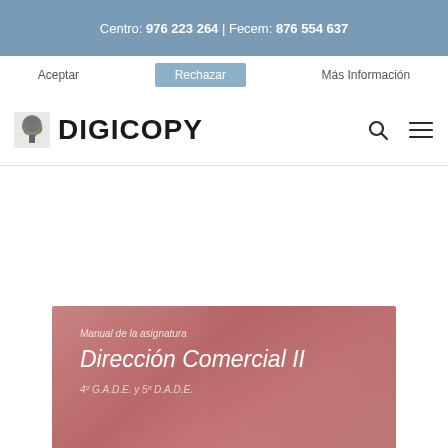Centro: 976 223 264 | Fecem: 876 554 637
Aceptar | Rechazar | Más Información
[Figure (logo): DIGICOPY logo with tree icon, search and hamburger menu icons on the right]
[Figure (illustration): Book cover for 'Manual de la asignatura Dirección Comercial II, 4º G.A.D.E. y 5º D.A.D.E.' with a rose/burgundy background]
Manual de la asignatura
Dirección Comercial II
4º G.A.D.E. y 5º D.A.D.E.